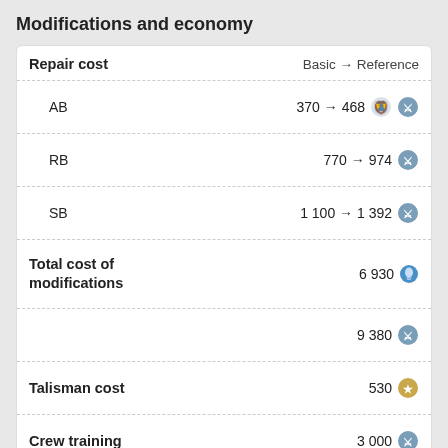Modifications and economy
| Repair cost | Basic → Reference |
| --- | --- |
| AB | 370 → 468 [lion] |
| RB | 770 → 974 [lion] |
| SB | 1 100 → 1 392 [lion] |
| Total cost of modifications | 6 930 [bulb] |
|  | 9 380 [lion] |
| Talisman cost | 530 [eagle] |
| Crew training | 3 000 [lion] |
| Experts | 10 000 [lion] |
| Aces | 130 [eagle] |